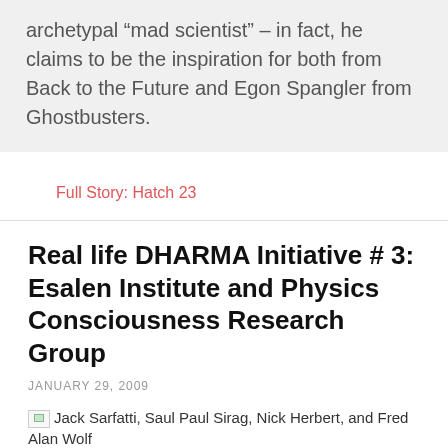archetypal “mad scientist” – in fact, he claims to be the inspiration for both from Back to the Future and Egon Spangler from Ghostbusters.
Full Story: Hatch 23
Real life DHARMA Initiative # 3: Esalen Institute and Physics Consciousness Research Group
JANUARY 29, 2009
Jack Sarfatti, Saul Paul Sirag, Nick Herbert, and Fred Alan Wolf